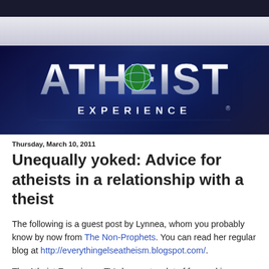[Figure (logo): Atheist Experience TV show logo — silver metallic letters spelling ATHEIST with a globe replacing the O, and EXPERIENCE spelled out below, on a dark blue background]
Thursday, March 10, 2011
Unequally yoked: Advice for atheists in a relationship with a theist
The following is a guest post by Lynnea, whom you probably know by now from The Non-Prophets. You can read her regular blog at http://everythingelseatheism.blogspot.com/.
The Atheist Experience TV show gets a lot of fans asking